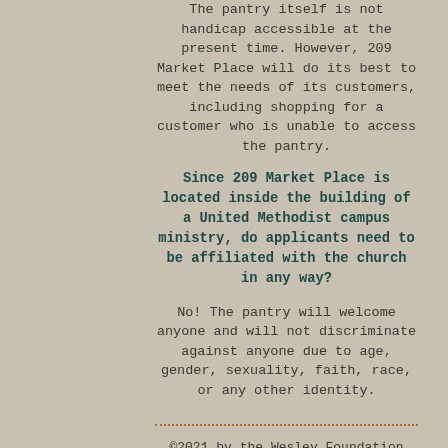The pantry itself is not handicap accessible at the present time. However, 209 Market Place will do its best to meet the needs of its customers, including shopping for a customer who is unable to access the pantry.
Since 209 Market Place is located inside the building of a United Methodist campus ministry, do applicants need to be affiliated with the church in any way?
No! The pantry will welcome anyone and will not discriminate against anyone due to age, gender, sexuality, faith, race, or any other identity.
©2021 by the Wesley Foundation